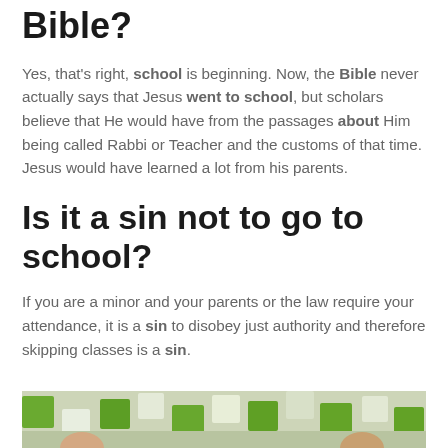Bible?
Yes, that's right, school is beginning. Now, the Bible never actually says that Jesus went to school, but scholars believe that He would have from the passages about Him being called Rabbi or Teacher and the customs of that time. Jesus would have learned a lot from his parents.
Is it a sin not to go to school?
If you are a minor and your parents or the law require your attendance, it is a sin to disobey just authority and therefore skipping classes is a sin.
[Figure (photo): Photo of children or students with green and white paper squares on a bulletin board background, partially cropped at bottom of page]